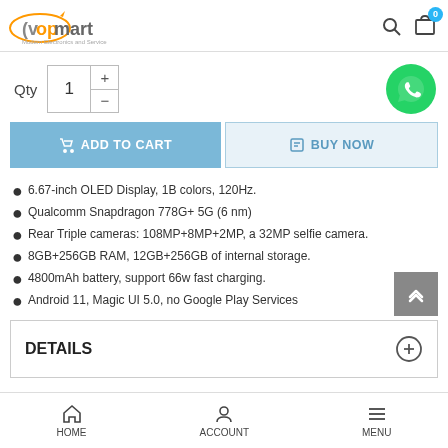vopmart — Modern Electronics and Service
Qty 1
ADD TO CART  BUY NOW
6.67-inch OLED Display, 1B colors, 120Hz.
Qualcomm Snapdragon 778G+ 5G (6 nm)
Rear Triple cameras: 108MP+8MP+2MP, a 32MP selfie camera.
8GB+256GB RAM, 12GB+256GB of internal storage.
4800mAh battery, support 66w fast charging.
Android 11, Magic UI 5.0, no Google Play Services
DETAILS
HOME  ACCOUNT  MENU